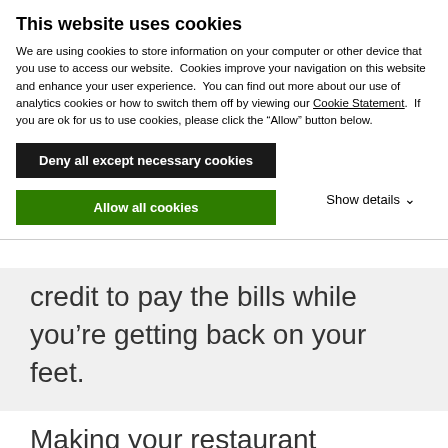This website uses cookies
We are using cookies to store information on your computer or other device that you use to access our website. Cookies improve your navigation on this website and enhance your user experience. You can find out more about our use of analytics cookies or how to switch them off by viewing our Cookie Statement. If you are ok for us to use cookies, please click the “Allow” button below.
Deny all except necessary cookies
Allow all cookies
Show details
credit to pay the bills while you’re getting back on your feet.
Making your restaurant physically safe again for food preparation might take a while. Your local health department should be able to tell you what the requirements are in your jurisdiction